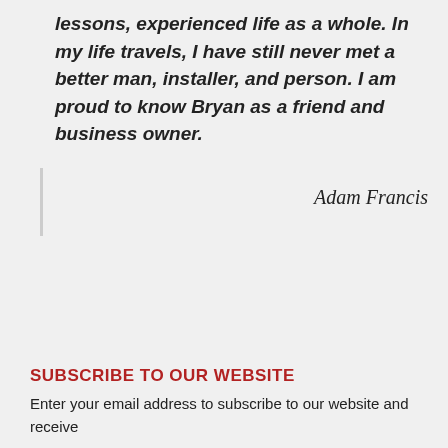lessons, experienced life as a whole. In my life travels, I have still never met a better man, installer, and person. I am proud to know Bryan as a friend and business owner.
Adam Francis
SUBSCRIBE TO OUR WEBSITE
Enter your email address to subscribe to our website and receive notifications of new posts by email.